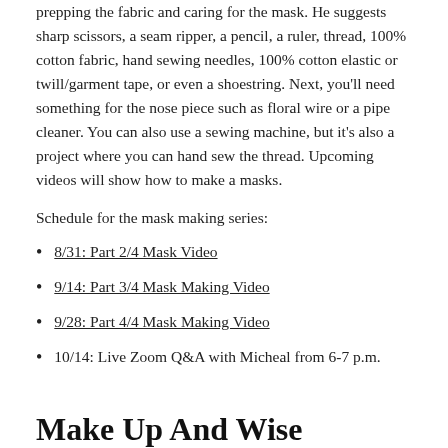prepping the fabric and caring for the mask. He suggests sharp scissors, a seam ripper, a pencil, a ruler, thread, 100% cotton fabric, hand sewing needles, 100% cotton elastic or twill/garment tape, or even a shoestring. Next, you'll need something for the nose piece such as floral wire or a pipe cleaner. You can also use a sewing machine, but it's also a project where you can hand sew the thread. Upcoming videos will show how to make a masks.
Schedule for the mask making series:
8/31: Part 2/4 Mask Video
9/14: Part 3/4 Mask Making Video
9/28: Part 4/4 Mask Making Video
10/14: Live Zoom Q&A with Micheal from 6-7 p.m.
Make Up And Wise